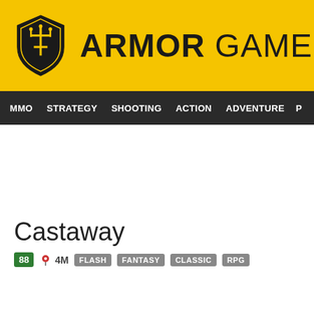[Figure (logo): Armor Games logo: yellow header bar with shield icon and bold ARMOR GAMES text]
MMO  STRATEGY  SHOOTING  ACTION  ADVENTURE  P
Castaway
88  4M  FLASH  FANTASY  CLASSIC  RPG